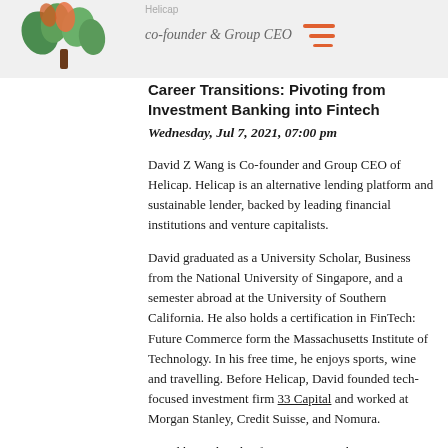Helicap
Co-founder & Group CEO
Career Transitions: Pivoting from Investment Banking into Fintech
Wednesday, Jul 7, 2021, 07:00 pm
David Z Wang is Co-founder and Group CEO of Helicap. Helicap is an alternative lending platform and sustainable lender, backed by leading financial institutions and venture capitalists.
David graduated as a University Scholar, Business from the National University of Singapore, and a semester abroad at the University of Southern California. He also holds a certification in FinTech: Future Commerce form the Massachusetts Institute of Technology. In his free time, he enjoys sports, wine and travelling. Before Helicap, David founded tech-focused investment firm 33 Capital and worked at Morgan Stanley, Credit Suisse, and Nomura.
David has a decade of experience working